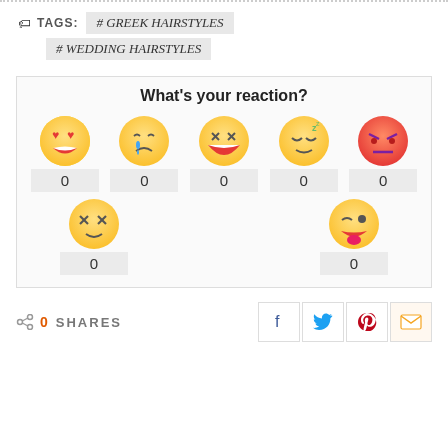...dotted border...
TAGS: #GREEK HAIRSTYLES #WEDDING HAIRSTYLES
[Figure (infographic): Reaction widget showing 7 emoji faces (love, sad, laughing, sleepy, angry, dizzy, silly) each with a count of 0]
0 SHARES social share buttons: Facebook, Twitter, Pinterest, Email